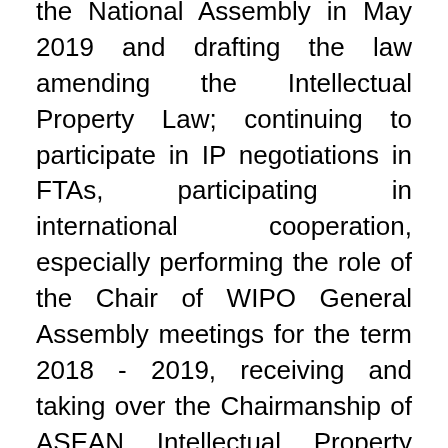the National Assembly in May 2019 and drafting the law amending the Intellectual Property Law; continuing to participate in IP negotiations in FTAs, participating in international cooperation, especially performing the role of the Chair of WIPO General Assembly meetings for the term 2018 - 2019, receiving and taking over the Chairmanship of ASEAN Intellectual Property Cooperation Working Group (AWGIPC) for the term 2019-2021 and joining the Hague Agreement on international registration industrial designs. In addition, IP Viet Nam will work with WIPO to implement the Project of Developing the Industrial Property Administration System (WIPO IPAS) for full operation in the first quarter of 2020 and establishing the 4th level Online Public Services as required in Resolution No. 36a/ NQ-CP on e-